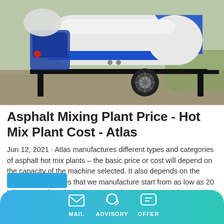[Figure (photo): White and blue asphalt mixing plant / hot mix plant on a trailer with black frame and single wheel, parked outdoors on gravel near grass]
Asphalt Mixing Plant Price - Hot Mix Plant Cost - Atlas
Jun 12, 2021 · Atlas manufactures different types and categories of asphalt hot mix plants – the basic price or cost will depend on the capacity of the machine selected. It also depends on the type. The capacities that we manufacture start from as low as 20 tph, 40-60 tph, 60-90 tph, 80-100 tph, 120 tph, 160 tph, 200 tph and 260 tph.
[Figure (infographic): Bottom navigation bar with gradient (blue to teal) containing three icons and labels: MAIL (envelope icon), ADVISORY (headset icon), OFFER (chat icon)]